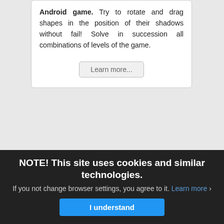Android game. Try to rotate and drag shapes in the position of their shadows without fail! Solve in succession all combinations of levels of the game.
Learn more...
Admin Countdown
[Figure (photo): Admin Countdown software box product image showing a dark box with golden text 'ADMIN COUNTDOWN' and timer '00:19:59:10' and 'SAVE YOUR TURN' text]
Module for Joomla! 2.5 and 3.x displays in the administration part of the site a timer with countdown of
NOTE! This site uses cookies and similar technologies. If you not change browser settings, you agree to it. Learn more
I understand